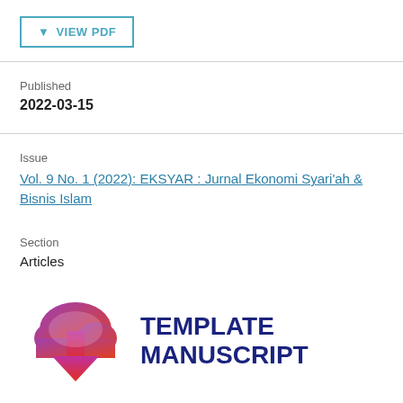VIEW PDF
Published
2022-03-15
Issue
Vol. 9 No. 1 (2022): EKSYAR : Jurnal Ekonomi Syari'ah & Bisnis Islam
Section
Articles
[Figure (logo): Cloud download icon with purple/orange/red gradient and text TEMPLATE MANUSCRIPT in dark blue bold font]